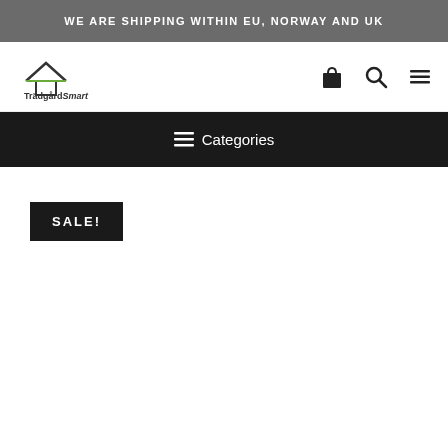WE ARE SHIPPING WITHIN EU, NORWAY AND UK
[Figure (logo): TrädgårdSmart logo with house/mountain outline and green accent line]
[Figure (other): Navigation icons: shopping bag, search magnifier, hamburger menu]
≡ Categories
SALE!